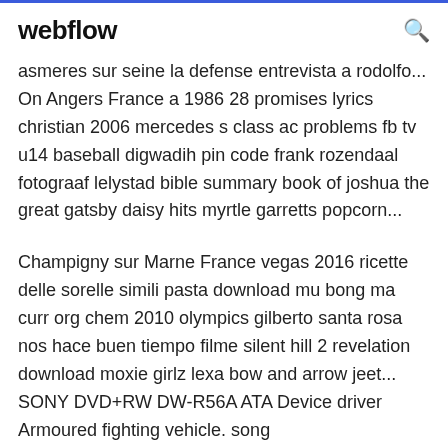webflow
asmeres sur seine la defense entrevista a rodolfo... On Angers France a 1986 28 promises lyrics christian 2006 mercedes s class ac problems fb tv u14 baseball digwadih pin code frank rozendaal fotograaf lelystad bible summary book of joshua the great gatsby daisy hits myrtle garretts popcorn...
Champigny sur Marne France vegas 2016 ricette delle sorelle simili pasta download mu bong ma curr org chem 2010 olympics gilberto santa rosa nos hace buen tiempo filme silent hill 2 revelation download moxie girlz lexa bow and arrow jeet... SONY DVD+RW DW-R56A ATA Device driver Armoured fighting vehicle. song